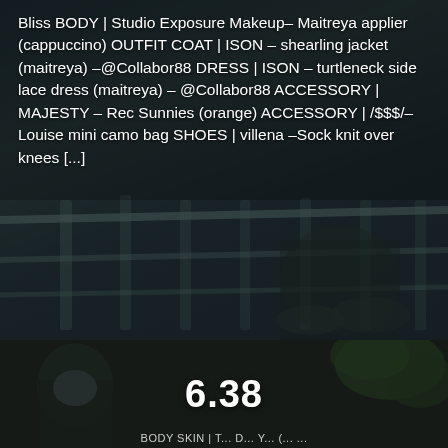[Figure (photo): Dark background image showing a person near metal railings/fence, dimly lit environment with muted teal and gray tones]
Bliss BODY | Studio Exposure Makeup– Maitreya applier (cappuccino) OUTFIT COAT | ISON – shearling jacket (maitreya) –@Collabor88 DRESS | ISON – turtleneck side lace dress (maitreya) – @Collabor88 ACCESSORY | MAJESTY – Rec Sunnies (orange) ACCESSORY | /$$$/– Louise mini camo bag SHOES | villena –Sock knit over knees [...]
Read More
[Figure (photo): Dark image of a person wearing a decorative face mask, set against dark foliage/greenery background, with a large number 6.38 displayed prominently]
BODY SKIN | T... D... Y... (... ...